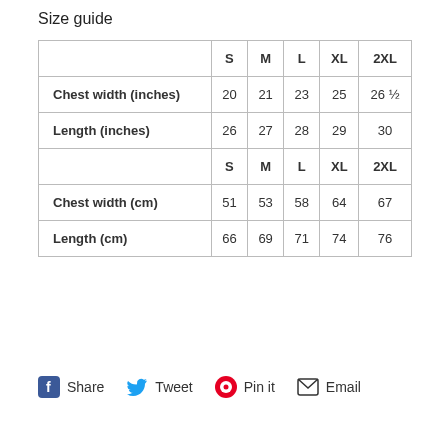Size guide
|  | S | M | L | XL | 2XL |
| --- | --- | --- | --- | --- | --- |
| Chest width (inches) | 20 | 21 | 23 | 25 | 26 ½ |
| Length (inches) | 26 | 27 | 28 | 29 | 30 |
|  | S | M | L | XL | 2XL |
| Chest width (cm) | 51 | 53 | 58 | 64 | 67 |
| Length (cm) | 66 | 69 | 71 | 74 | 76 |
Share  Tweet  Pin it  Email